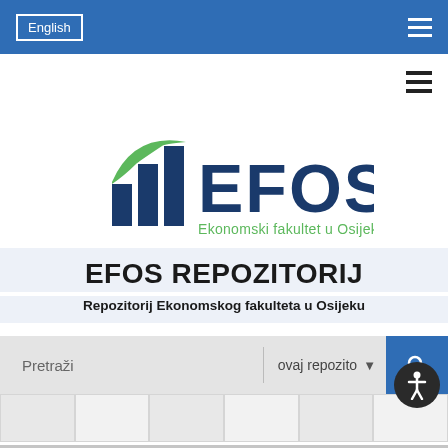English  ≡
[Figure (logo): EFOS logo — bar chart icon with green swoosh accent above dark blue bars, text 'EFOS' in dark blue and subtitle 'Ekonomski fakultet u Osijeku' in green]
EFOS REPOZITORIJ
Repozitorij Ekonomskog fakulteta u Osijeku
Pretraži  ovaj repozito  🔍